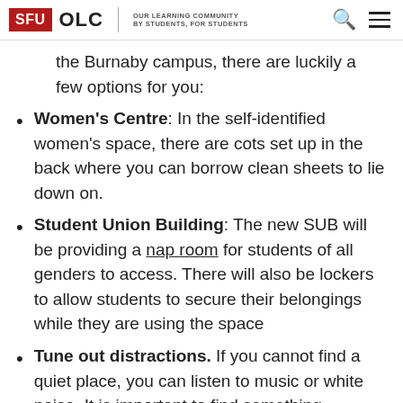SFU OLC | OUR LEARNING COMMUNITY BY STUDENTS, FOR STUDENTS
the Burnaby campus, there are luckily a few options for you:
Women's Centre: In the self-identified women's space, there are cots set up in the back where you can borrow clean sheets to lie down on.
Student Union Building: The new SUB will be providing a nap room for students of all genders to access. There will also be lockers to allow students to secure their belongings while they are using the space
Tune out distractions. If you cannot find a quiet place, you can listen to music or white noise. It is important to find something